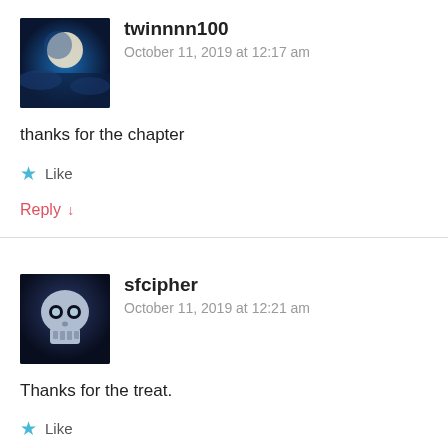[Figure (photo): Avatar image with moon and blue sky/clouds for user twinnnn100]
twinnnn100
October 11, 2019 at 12:17 am
thanks for the chapter
★ Like
Reply ↓
[Figure (photo): Avatar image with skull graphic for user sfcipher]
sfcipher
October 11, 2019 at 12:21 am
Thanks for the treat.
★ Like
Reply ↓